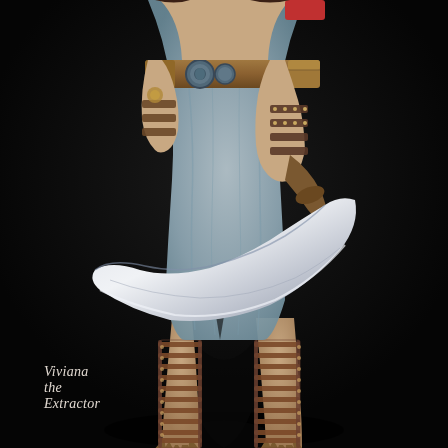[Figure (illustration): Fantasy character illustration showing the lower body of a female warrior named Viviana the Extractor. She wears a light blue-grey draped skirt/tunic, a decorated leather belt with medallions and pouches, leather wrist bracers, and tall gladiator-style sandals with multiple straps on both legs. She holds a large curved sword/scimitar with a pale blade. The background is dark/black. Her feet appear claw-like.]
Viviana the Extractor